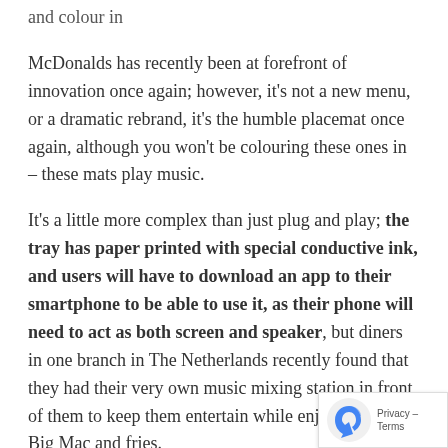and colour in
McDonalds has recently been at forefront of innovation once again; however, it's not a new menu, or a dramatic rebrand, it's the humble placemat once again, although you won't be colouring these ones in – these mats play music.
It's a little more complex than just plug and play; the tray has paper printed with special conductive ink, and users will have to download an app to their smartphone to be able to use it, as their phone will need to act as both screen and speaker, but diners in one branch in The Netherlands recently found that they had their very own music mixing station in front of them to keep them entertain while enjoying their Big Mac and fries.
[Figure (logo): reCAPTCHA privacy badge with blue arrow icon and 'Privacy - Terms' text]